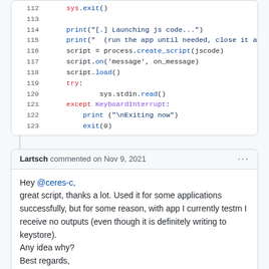[Figure (screenshot): Code block showing Python lines 112-123 with syntax highlighting]
Lartsch commented on Nov 9, 2021
Hey @ceres-c,
great script, thanks a lot. Used it for some applications successfully, but for some reason, with app I currently testm I receive no outputs (even though it is definitely writing to keystore).
Any idea why?
Best regards,